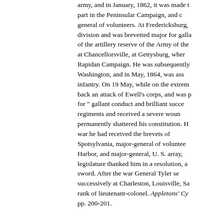army, and in January, 1862, it was made t part in the Peninsular Campaign, and c general of volunteers. At Fredericksburg, division and was brevetted major for galla of the artillery reserve of the Army of the at Chancellorsville, at Gettysburg, wher Rapidan Campaign. He was subsequently Washington, and in May, 1864, was ass infantry. On 19 May, while on the extrem back an attack of Ewell's corps, and was p for " gallant conduct and brilliant succe regiments and received a severe woun permanently shattered his constitution. H war he had received the brevets of Spotsylvania, major-general of voluntee Harbor, and major-general, U. S. array, legislature thanked him in a resolution, a sword. After the war General Tyler se successively at Charleston, Louisville, Sa rank of lieutenant-colonel. Appletons' Cy pp. 200-201.